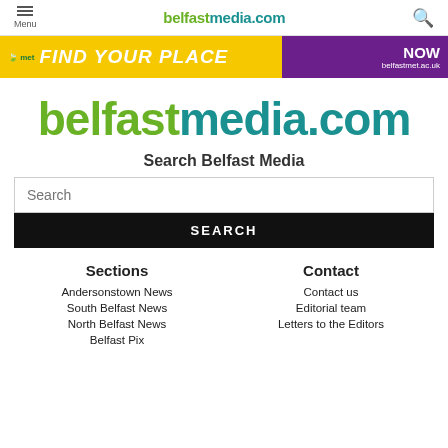Menu | belfastmedia.com
[Figure (other): Ad banner: MET College 'FIND YOUR PLACE NOW' advertisement banner with yellow and purple sections, belfastmet.ac.uk]
belfastmedia.com
Search Belfast Media
Search
SEARCH
Sections
Contact
Andersonstown News
Contact us
South Belfast News
Editorial team
North Belfast News
Letters to the Editors
Belfast Pix